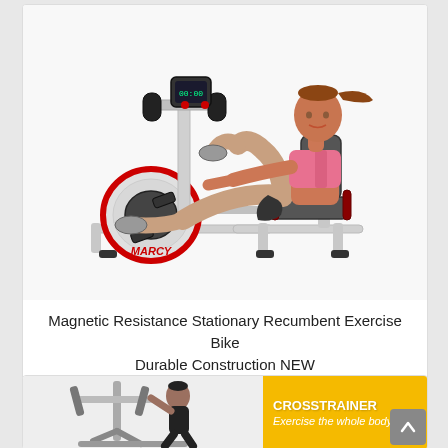[Figure (photo): Woman riding a Marcy brand recumbent stationary exercise bike with magnetic resistance. The bike is white and red. The woman is wearing a pink sports bra and dark shorts. White background.]
Magnetic Resistance Stationary Recumbent Exercise Bike Durable Construction NEW
[Figure (photo): Partial view of a cross trainer / elliptical exercise machine in a room setting, with a woman using it. An overlaid yellow/orange banner reads 'CROSSTRAINER - Exercise the whole body'.]